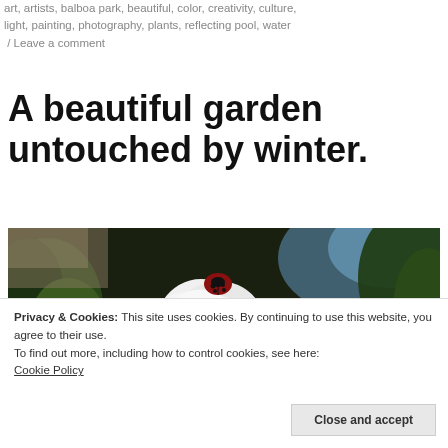art, artists, balboa park, beautiful, color, creativity, culture, light, painting, photography, plants, reflecting pool, water / Leave a comment
A beautiful garden untouched by winter.
[Figure (photo): Close-up photograph of a white flower (rose or camellia) with a ladybug (red with black spots) perched on one petal, set against a dark garden background with green foliage and a hint of blue sky.]
Privacy & Cookies: This site uses cookies. By continuing to use this website, you agree to their use.
To find out more, including how to control cookies, see here: Cookie Policy
Close and accept